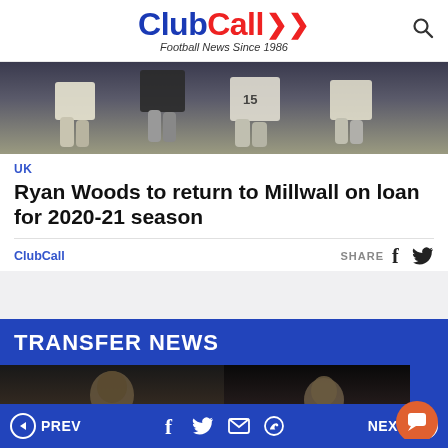ClubCall Football News Since 1986
[Figure (photo): Football players legs and lower bodies running on a pitch, wearing white shorts and jerseys with number 15 visible]
UK
Ryan Woods to return to Millwall on loan for 2020-21 season
ClubCall   SHARE
TRANSFER NEWS
[Figure (photo): Two side-by-side football player photos; left shows a dark-skinned player, right shows another player with a blue corner element overlay]
PREV   NEXT